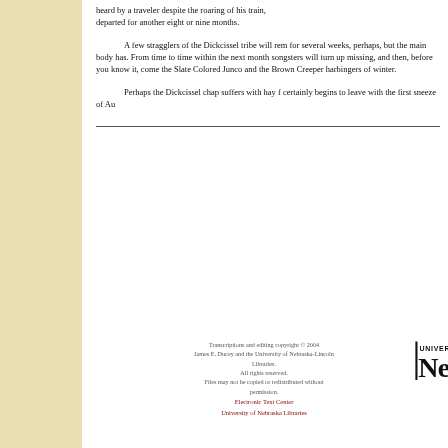heard by a traveler despite the roaring of his train, departed for another eight or nine months.
A few stragglers of the Dickcissel tribe will remain for several weeks, perhaps, but the main body has. From time to time within the next month songsters will turn up missing, and then, before you know it, come the Slate Colored Junco and the Brown Creeper harbingers of winter.
Perhaps the Dickcissel chap suffers with hay fever, certainly begins to leave with the first sneeze of Au
Transcriptions and editing copyright © 2004 James E. Ducey and the University of Nebraska-Lincoln Libraries. All rights reserved. Files may not be copied or redistributed without permission. Electronic Text Center University of Nebraska Libraries